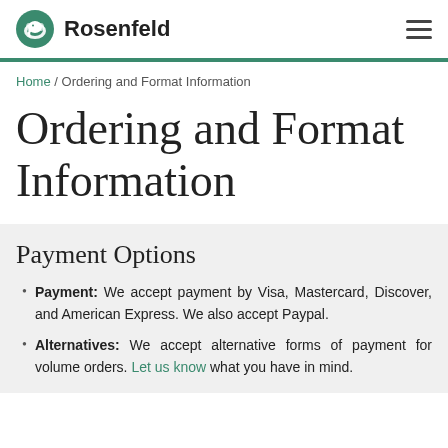Rosenfeld
Home / Ordering and Format Information
Ordering and Format Information
Payment Options
Payment: We accept payment by Visa, Mastercard, Discover, and American Express. We also accept Paypal.
Alternatives: We accept alternative forms of payment for volume orders. Let us know what you have in mind.